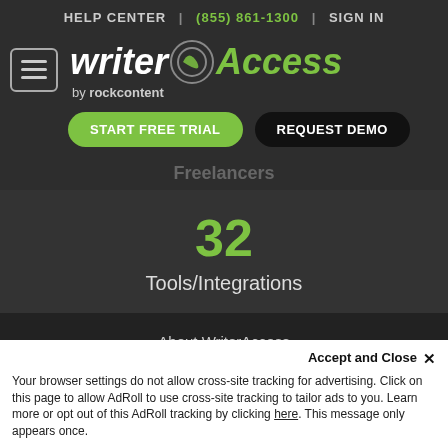HELP CENTER | (855) 861-1300 | SIGN IN
[Figure (logo): WriterAccess by rockcontent logo with hamburger menu icon]
START FREE TRIAL | REQUEST DEMO
Freelancers
32
Tools/Integrations
About WriterAccess
→ Blog
Accept and Close ✕
Your browser settings do not allow cross-site tracking for advertising. Click on this page to allow AdRoll to use cross-site tracking to tailor ads to you. Learn more or opt out of this AdRoll tracking by clicking here. This message only appears once.